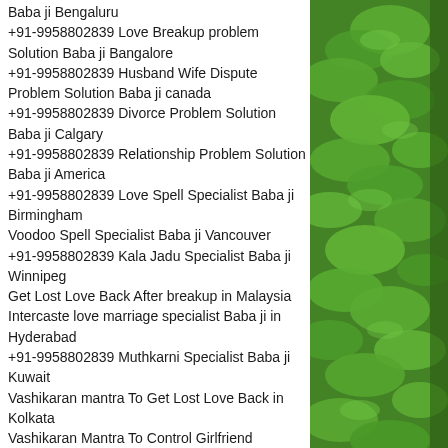Baba ji Bengaluru +91-9958802839 Love Breakup problem Solution Baba ji Bangalore +91-9958802839 Husband Wife Dispute Problem Solution Baba ji canada +91-9958802839 Divorce Problem Solution Baba ji Calgary +91-9958802839 Relationship Problem Solution Baba ji America +91-9958802839 Love Spell Specialist Baba ji Birmingham Voodoo Spell Specialist Baba ji Vancouver +91-9958802839 Kala Jadu Specialist Baba ji Winnipeg Get Lost Love Back After breakup in Malaysia Intercaste love marriage specialist Baba ji in Hyderabad +91-9958802839 Muthkarni Specialist Baba ji Kuwait Vashikaran mantra To Get Lost Love Back in Kolkata Vashikaran Mantra To Control Girlfriend
[Figure (photo): Green leafy plants/shrubs photographed outdoors, filling the right column of the page]